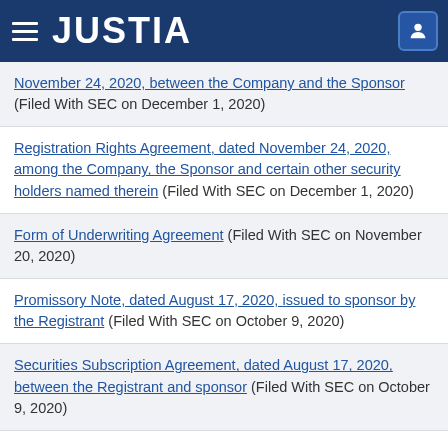JUSTIA
November 24, 2020, between the Company and the Sponsor (Filed With SEC on December 1, 2020)
Registration Rights Agreement, dated November 24, 2020, among the Company, the Sponsor and certain other security holders named therein (Filed With SEC on December 1, 2020)
Form of Underwriting Agreement (Filed With SEC on November 20, 2020)
Promissory Note, dated August 17, 2020, issued to sponsor by the Registrant (Filed With SEC on October 9, 2020)
Securities Subscription Agreement, dated August 17, 2020, between the Registrant and sponsor (Filed With SEC on October 9, 2020)